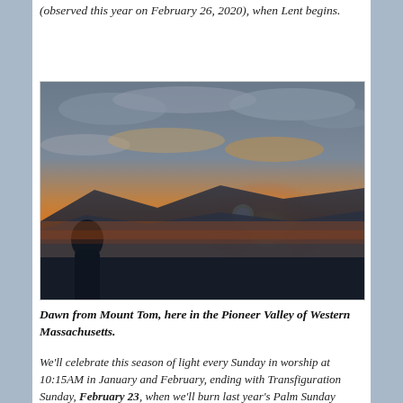(observed this year on February 26, 2020), when Lent begins.
[Figure (photo): A person silhouetted against a dramatic orange and golden sunrise over mountain ridges, viewed from Mount Tom in the Pioneer Valley of Western Massachusetts.]
Dawn from Mount Tom, here in the Pioneer Valley of Western Massachusetts.
We'll celebrate this season of light every Sunday in worship at 10:15AM in January and February, ending with Transfiguration Sunday, February 23, when we'll burn last year's Palm Sunday palms, which will make the ashes for this year's Ash Wednesday.
[Figure (photo): A forest scene with trees and light filtering through the canopy, bottom of image.]